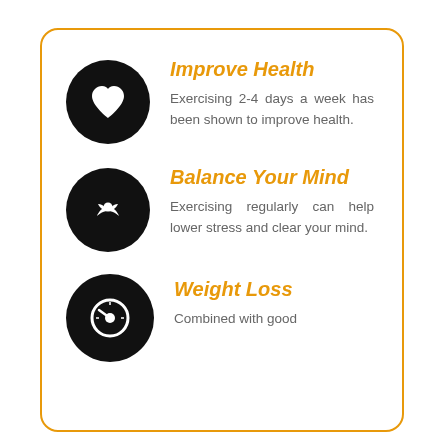Improve Health
Exercising 2-4 days a week has been shown to improve health.
Balance Your Mind
Exercising regularly can help lower stress and clear your mind.
Weight Loss
Combined with good